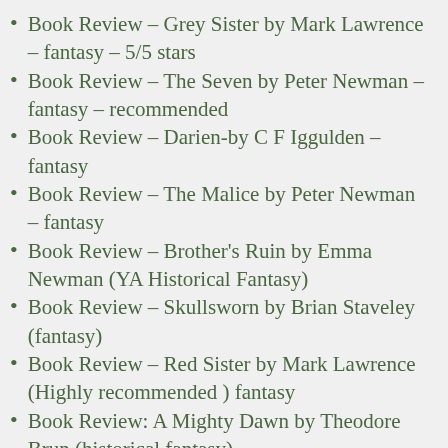Book Review – Grey Sister by Mark Lawrence – fantasy – 5/5 stars
Book Review – The Seven by Peter Newman – fantasy – recommended
Book Review – Darien-by C F Iggulden – fantasy
Book Review – The Malice by Peter Newman – fantasy
Book Review – Brother's Ruin by Emma Newman (YA Historical Fantasy)
Book Review – Skullsworn by Brian Staveley (fantasy)
Book Review – Red Sister by Mark Lawrence (Highly recommended ) fantasy
Book Review: A Mighty Dawn by Theodore Brun (historical fantasy)